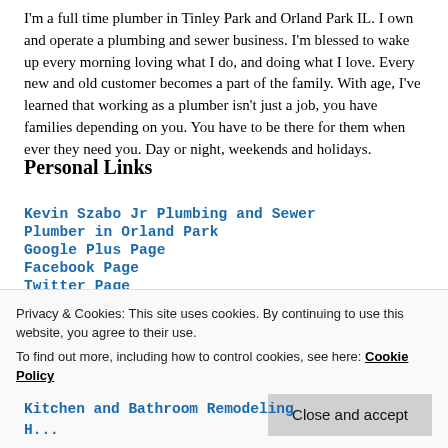I'm a full time plumber in Tinley Park and Orland Park IL. I own and operate a plumbing and sewer business. I'm blessed to wake up every morning loving what I do, and doing what I love. Every new and old customer becomes a part of the family. With age, I've learned that working as a plumber isn't just a job, you have families depending on you. You have to be there for them when ever they need you. Day or night, weekends and holidays.
Personal Links
Kevin Szabo Jr Plumbing and Sewer
Plumber in Orland Park
Google Plus Page
Facebook Page
Twitter Page
Pinterest Page
Privacy & Cookies: This site uses cookies. By continuing to use this website, you agree to their use.
To find out more, including how to control cookies, see here: Cookie Policy
Close and accept
Kitchen and Bathroom Remodeling
H...